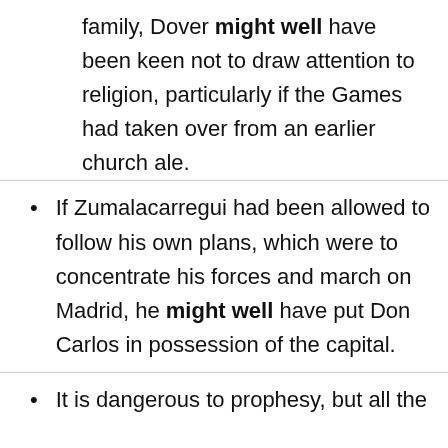family, Dover might well have been keen not to draw attention to religion, particularly if the Games had taken over from an earlier church ale.
If Zumalacarregui had been allowed to follow his own plans, which were to concentrate his forces and march on Madrid, he might well have put Don Carlos in possession of the capital.
It is dangerous to prophesy, but all the